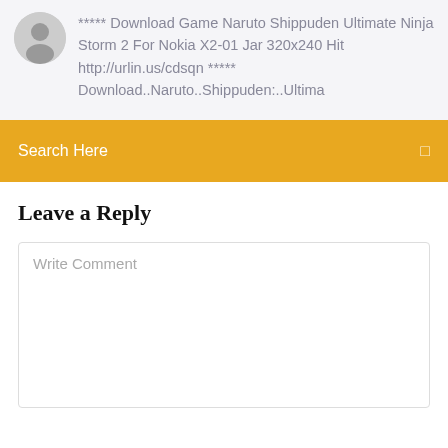***** Download Game Naruto Shippuden Ultimate Ninja Storm 2 For Nokia X2-01 Jar 320x240 Hit http://urlin.us/cdsqn ***** Download..Naruto..Shippuden:..Ultima
Search Here
Leave a Reply
Write Comment